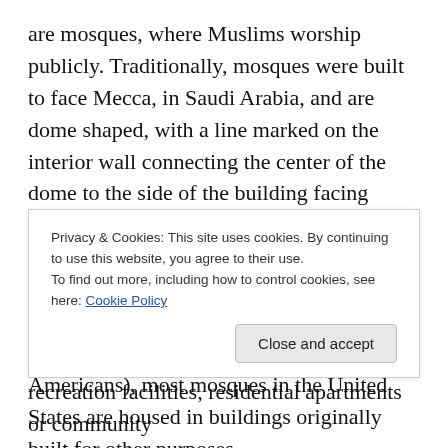are mosques, where Muslims worship publicly. Traditionally, mosques were built to face Mecca, in Saudi Arabia, and are dome shaped, with a line marked on the interior wall connecting the center of the dome to the side of the building facing Mecca. Another important feature of mosques is a minaret, or tower, from which the crier (muezzin) calls Muslims to prayer five times a day. Due to the poverty of early Muslims (usually immigrant and African-Americans), most mosques in the United States are housed in buildings originally built for other purposes.
U.S. mosques have some distinct characteristics for
Privacy & Cookies: This site uses cookies. By continuing to use this website, you agree to their use. To find out more, including how to control cookies, see here: Cookie Policy
recreation facilities, residential apartments or community